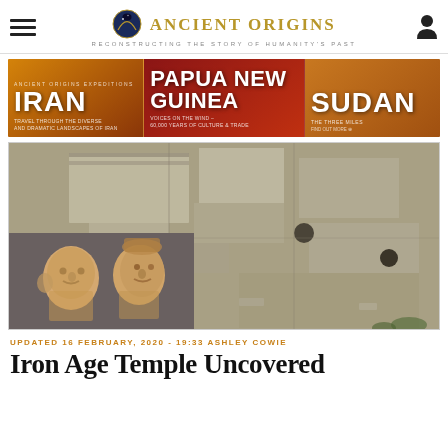Ancient Origins — Reconstructing the story of humanity's past
[Figure (infographic): Ancient Origins Expeditions banner ad with three destinations: IRAN, PAPUA NEW GUINEA, SUDAN]
[Figure (photo): Aerial view of ancient stone ruins with two clay figurine heads in the foreground]
UPDATED 16 FEBRUARY, 2020 - 19:33 ASHLEY COWIE
Iron Age Temple Uncovered